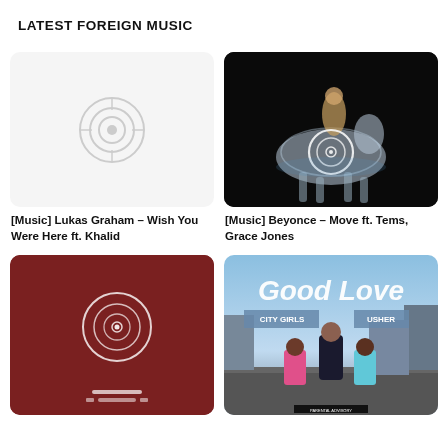LATEST FOREIGN MUSIC
[Figure (illustration): Placeholder thumbnail for Lukas Graham - Wish You Were Here ft. Khalid, white/grey background with record/vinyl icon]
[Music] Lukas Graham – Wish You Were Here ft. Khalid
[Figure (photo): Beyonce album art - woman in gold outfit riding a glowing silver/chrome horse on black background with vinyl record overlay icon]
[Music] Beyonce – Move ft. Tems, Grace Jones
[Figure (illustration): Dark maroon/red album art thumbnail with white record/vinyl logo in center and horizontal lines at bottom]
[Figure (photo): City Girls & Usher - Good Love single cover, three people posing in urban setting with stylized text Good Love at top]